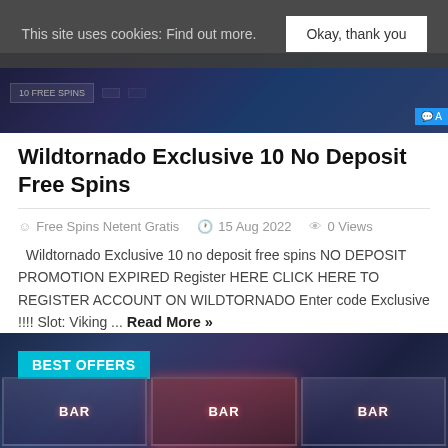This site uses cookies: Find out more. Okay, thank you
[Figure (screenshot): Dark casino promotional banner at top of page with free spins imagery and a blue tag]
Wildtornado Exclusive 10 No Deposit Free Spins
Free Spins Netent Gratis   15 Aug 2022   0 Views
Wildtornado Exclusive 10 no deposit free spins NO DEPOSIT PROMOTION EXPIRED Register HERE CLICK HERE TO REGISTER ACCOUNT ON WILDTORNADO Enter code Exclusive !!!! Slot: Viking ... Read More »
[Figure (photo): Slot machine reels with BAR symbols against a dark blue background, with a BEST OFFERS teal label overlay]